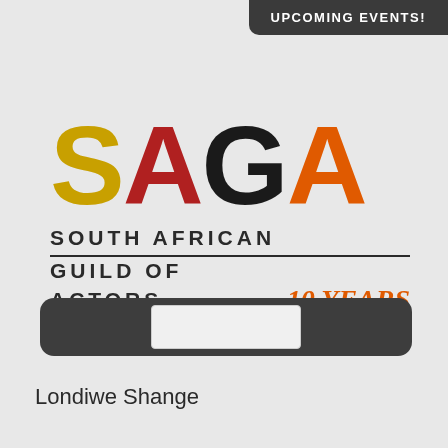UPCOMING EVENTS!
[Figure (logo): SAGA South African Guild of Actors logo with 10 years text. S in gold/yellow, A in dark red, G in black, A in orange. Below: SOUTH AFRICAN / GUILD OF ACTORS in bold spaced uppercase, with '10 years' in italic orange script.]
[Figure (other): Dark rounded rectangle bar with a white/light grey rectangle box centered inside it.]
Londiwe Shange